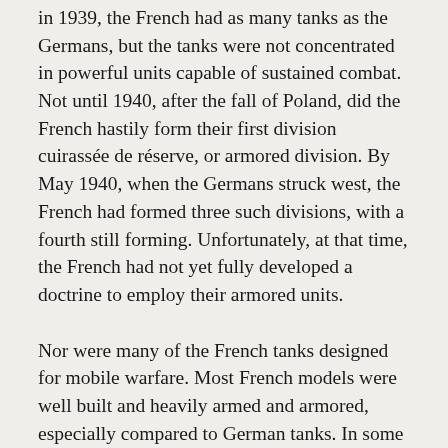in 1939, the French had as many tanks as the Germans, but the tanks were not concentrated in powerful units capable of sustained combat. Not until 1940, after the fall of Poland, did the French hastily form their first division cuirassée de réserve, or armored division. By May 1940, when the Germans struck west, the French had formed three such divisions, with a fourth still forming. Unfortunately, at that time, the French had not yet fully developed a doctrine to employ their armored units.
Nor were many of the French tanks designed for mobile warfare. Most French models were well built and heavily armed and armored, especially compared to German tanks. In some technical respects—electric turret traverse and transmissions—French tanks were superior. But the heavier French models were designed primarily for infantry support during a slow-moving methodical battle. All but command tanks